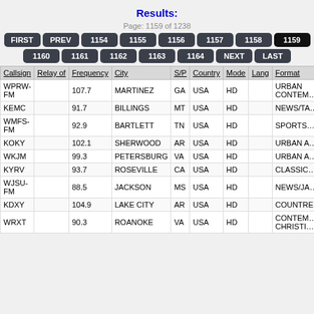Results:
Page: 1159 of 1238
FIRST PREV 1154 1155 1156 1157 1158 1159 1160 1161 1162 1163 1164 NEXT LAST
| Callsign | Relay of | Frequency | City | S/P | Country | Mode | Lang | Format |
| --- | --- | --- | --- | --- | --- | --- | --- | --- |
| WPRW-FM |  | 107.7 | MARTINEZ | GA | USA | HD |  | URBAN CONTEM… |
| KEMC |  | 91.7 | BILLINGS | MT | USA | HD |  | NEWS/TA… |
| WMFS-FM |  | 92.9 | BARTLETT | TN | USA | HD |  | SPORTS… |
| KOKY |  | 102.1 | SHERWOOD | AR | USA | HD |  | URBAN A… |
| WKJM |  | 99.3 | PETERSBURG | VA | USA | HD |  | URBAN A… |
| KYRV |  | 93.7 | ROSEVILLE | CA | USA | HD |  | CLASSIC… |
| WJSU-FM |  | 88.5 | JACKSON | MS | USA | HD |  | NEWS/JA… |
| KDXY |  | 104.9 | LAKE CITY | AR | USA | HD |  | COUNTRE… |
| WRXT |  | 90.3 | ROANOKE | VA | USA | HD |  | CONTEM… CHRISTI… |